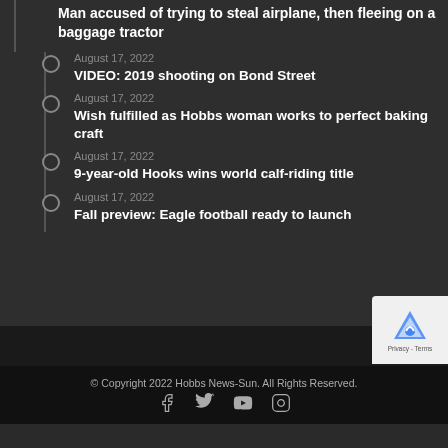Man accused of trying to steal airplane, then fleeing on a baggage tractor
August 17, 2022 — VIDEO: 2019 shooting on Bond Street
August 17, 2022 — Wish fulfilled as Hobbs woman works to perfect baking craft
August 17, 2022 — 9-year-old Hooks wins world calf-riding title
August 17, 2022 — Fall preview: Eagle football ready to launch
© Copyright 2022 Hobbs News-Sun. All Rights Reserved.